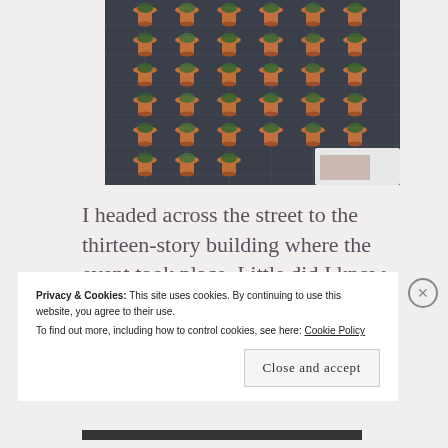[Figure (photo): Wall covered in a dark grid with many terracotta pots containing green succulent plants arranged in rows and columns. Bottom right shows a glimpse of a white table or furniture.]
I headed across the street to the thirteen-story building where the event took place. Little did I know
Privacy & Cookies: This site uses cookies. By continuing to use this website, you agree to their use.
To find out more, including how to control cookies, see here: Cookie Policy
Close and accept